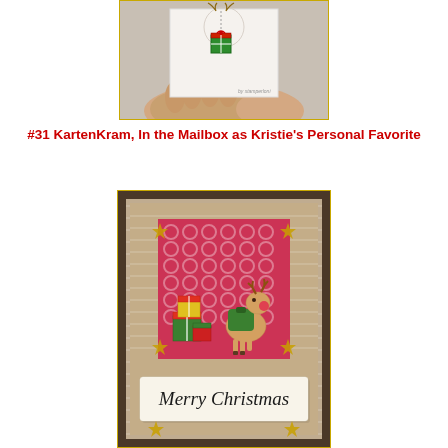[Figure (photo): Photo of a hand holding a handmade Christmas card with a gift box ornament hanging from antlers, white card background, watermark 'by stamperloni' in bottom right]
#31 KartenKram, In the Mailbox as Kristie's Personal Favorite
[Figure (photo): Photo of a handmade Christmas card featuring a reindeer in a green sweater with gift boxes on a pink patterned background, layered on kraft/beige textured paper with knit embossing, dark brown border, gold glitter stars in corners, and a 'Merry Christmas' banner at the bottom]